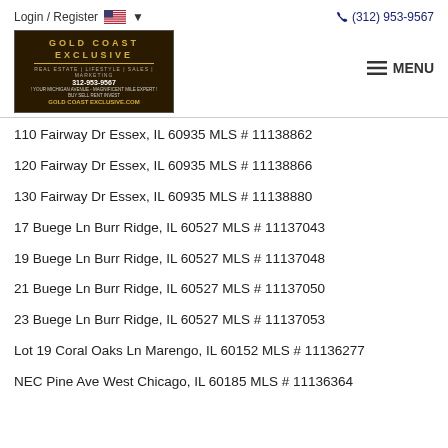Login / Register | (312) 953-9567 | MENU | Gold Coast Exclusive logo
110 Fairway Dr Essex, IL 60935 MLS # 11138862
120 Fairway Dr Essex, IL 60935 MLS # 11138866
130 Fairway Dr Essex, IL 60935 MLS # 11138880
17 Buege Ln Burr Ridge, IL 60527 MLS # 11137043
19 Buege Ln Burr Ridge, IL 60527 MLS # 11137048
21 Buege Ln Burr Ridge, IL 60527 MLS # 11137050
23 Buege Ln Burr Ridge, IL 60527 MLS # 11137053
Lot 19 Coral Oaks Ln Marengo, IL 60152 MLS # 11136277
NEC Pine Ave West Chicago, IL 60185 MLS # 11136364